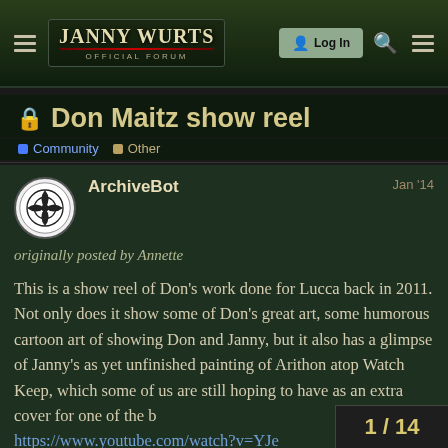Janny Wurts Official Forum — Log In
Don Maitz show reel
Community  Other
ArchiveBot  Jan '14
originally posted by Annette
This is a show reel of Don's work done for Lucca back in 2011. Not only does it show some of Don's great art, some humorous cartoon art of showing Don and Janny, but it also has a glimpse of Janny's as yet unfinished painting of Arithon atop Watch Keep, which some of us are still hoping to have as an extra cover for one of the b https://www.youtube.com/watch?v=YJe
1 / 14